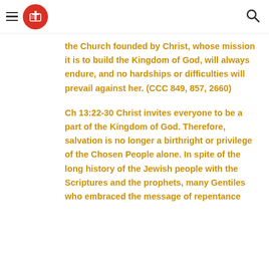[Navigation header with menu icon, cross/book logo, and search icon]
the Church founded by Christ, whose mission it is to build the Kingdom of God, will always endure, and no hardships or difficulties will prevail against her. (CCC 849, 857, 2660)
Ch 13:22-30 Christ invites everyone to be a part of the Kingdom of God. Therefore, salvation is no longer a birthright or privilege of the Chosen People alone. In spite of the long history of the Jewish people with the Scriptures and the prophets, many Gentiles who embraced the message of repentance